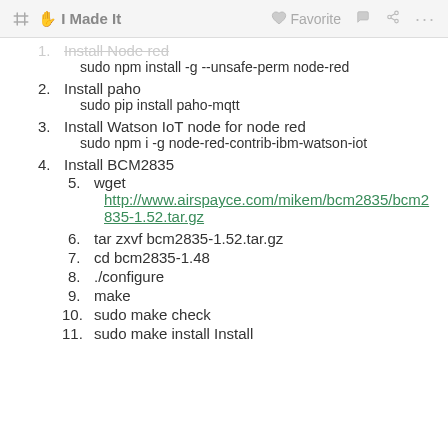I Made It | Favorite
1. Install Node red
   sudo npm install -g --unsafe-perm node-red
2. Install paho
   sudo pip install paho-mqtt
3. Install Watson IoT node for node red
   sudo npm i -g node-red-contrib-ibm-watson-iot
4. Install BCM2835
5. wget http://www.airspayce.com/mikem/bcm2835/bcm2835-1.52.tar.gz
6. tar zxvf bcm2835-1.52.tar.gz
7. cd bcm2835-1.48
8. ./configure
9. make
10. sudo make check
11. sudo make install Install